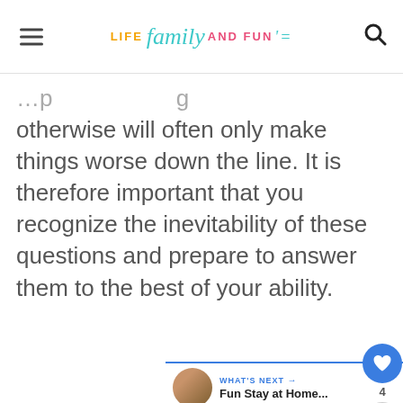LIFE family AND FUN
otherwise will often only make things worse down the line. It is therefore important that you recognize the inevitability of these questions and prepare to answer them to the best of your ability.